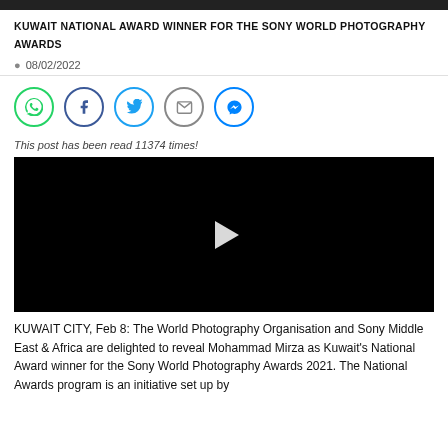KUWAIT NATIONAL AWARD WINNER FOR THE SONY WORLD PHOTOGRAPHY AWARDS
08/02/2022
[Figure (infographic): Row of 5 social media sharing icon buttons: WhatsApp (green), Facebook (dark blue), Twitter (light blue), Email (grey), Messenger (blue)]
This post has been read 11374 times!
[Figure (screenshot): Black video player with a white play button triangle in the center]
KUWAIT CITY, Feb 8: The World Photography Organisation and Sony Middle East & Africa are delighted to reveal Mohammad Mirza as Kuwait's National Award winner for the Sony World Photography Awards 2021. The National Awards program is an initiative set up by